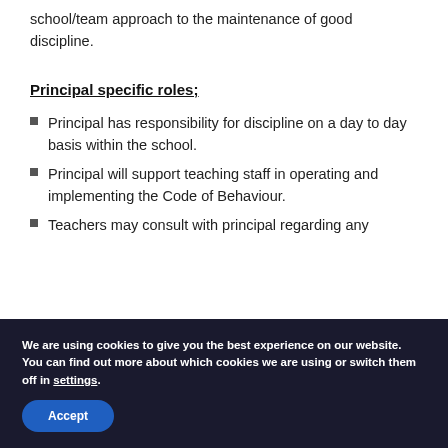school/team approach to the maintenance of good discipline.
Principal specific roles;
Principal has responsibility for discipline on a day to day basis within the school.
Principal will support teaching staff in operating and implementing the Code of Behaviour.
Teachers may consult with principal regarding any
We are using cookies to give you the best experience on our website.
You can find out more about which cookies we are using or switch them off in settings.
Accept